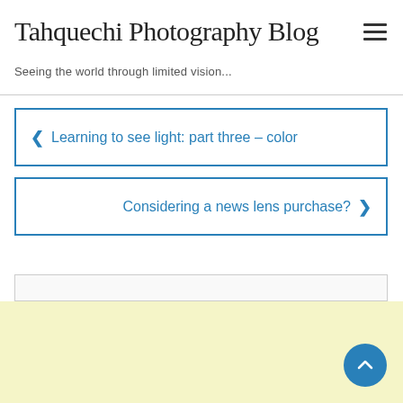Tahquechi Photography Blog
Seeing the world through limited vision...
‹ Learning to see light: part three – color
Considering a news lens purchase? ›